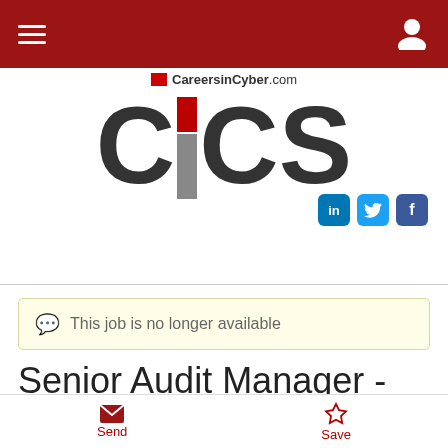Navigation bar with hamburger menu and user icon
[Figure (logo): CiCS - CareersinCyber.com logo with red and grey letter I between large C letters]
This job is no longer available
Senior Audit Manager - Professional Practices
Send | Save